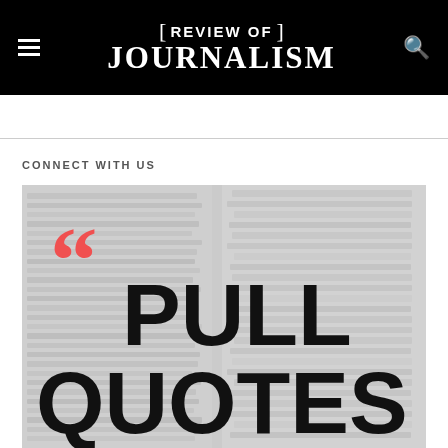[ ] REVIEW OF JOURNALISM
CONNECT WITH US
[Figure (illustration): Promotional graphic showing a background of stacked magazines/newspapers with large bold text reading 'PULL QUOTES' and large red opening quotation marks in the upper left]